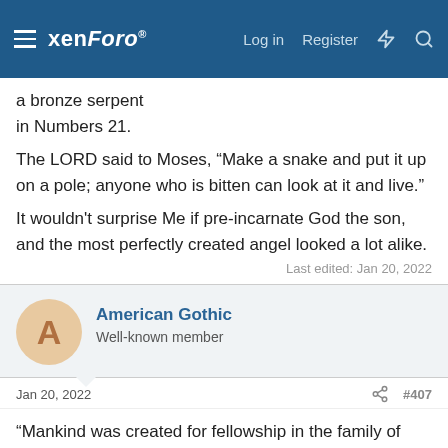xenForo — Log in  Register
a bronze serpent
in Numbers 21.
The LORD said to Moses, “Make a snake and put it up on a pole; anyone who is bitten can look at it and live.”
It wouldn't surprise Me if pre-incarnate God the son, and the most perfectly created angel looked a lot alike.
Last edited: Jan 20, 2022
American Gothic
Well-known member
Jan 20, 2022  #407
"Mankind was created for fellowship in the family of God.
The King desired more than a dutiful servant when he breathed life into
Adam's earthen frame—he wanted a faithful son who would love